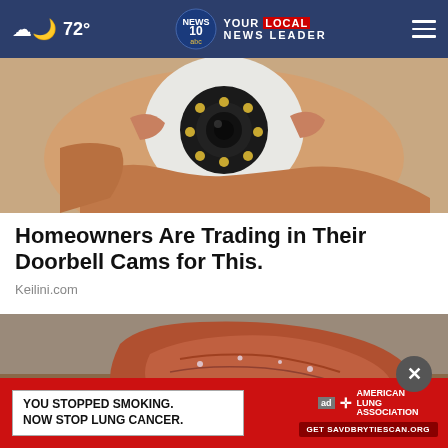72° NEWS 10 abc YOUR LOCAL NEWS LEADER
[Figure (photo): Close-up of a hand holding a small white circular security camera with multiple LED lights around the lens]
Homeowners Are Trading in Their Doorbell Cams for This.
Keilini.com
[Figure (photo): Close-up of a reddish hand pressed into or holding white powder/granules on a surface]
[Figure (screenshot): Advertisement banner: YOU STOPPED SMOKING. NOW STOP LUNG CANCER. - American Lung Association, Get SAVDBRYTIESCAN.ORG]